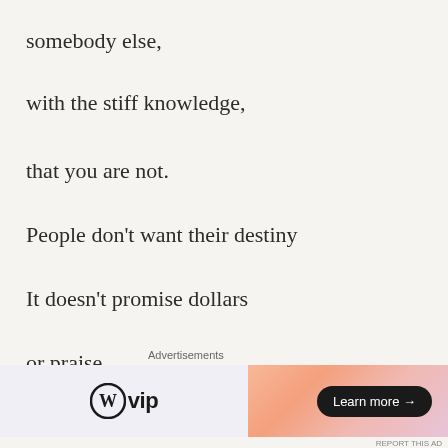somebody else,
with the stiff knowledge,
that you are not.
People don't want their destiny
It doesn't promise dollars
or praise
[Figure (other): WordPress VIP advertisement banner with logo on left and gradient background on right with 'Learn more' button]